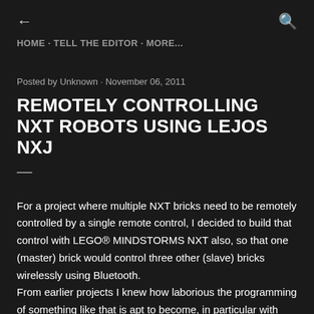← HOME · TELL THE EDITOR · MORE... 🔍
Posted by Unknown · November 06, 2011
REMOTELY CONTROLLING NXT ROBOTS USING LEJOS NXJ
For a project where multiple NXT bricks need to be remotely controlled by a single remote control, I decided to build that control with LEGO® MINDSTORMS NXT also, so that one (master) brick would control three other (slave) bricks wirelessly using Bluetooth.
From earlier projects I knew how laborious the programming of something like that is apt to become, in particular with